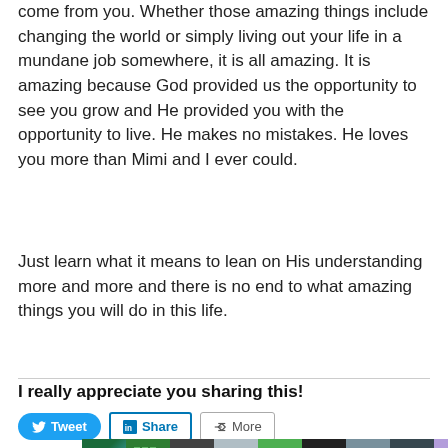come from you. Whether those amazing things include changing the world or simply living out your life in a mundane job somewhere, it is all amazing. It is amazing because God provided us the opportunity to see you grow and He provided you with the opportunity to live. He makes no mistakes. He loves you more than Mimi and I ever could.
Just learn what it means to lean on His understanding more and more and there is no end to what amazing things you will do in this life.
I really appreciate you sharing this!
[Figure (screenshot): Social sharing buttons: Tweet (Twitter), Share (LinkedIn), More]
[Figure (screenshot): Like button and row of user avatar thumbnails]